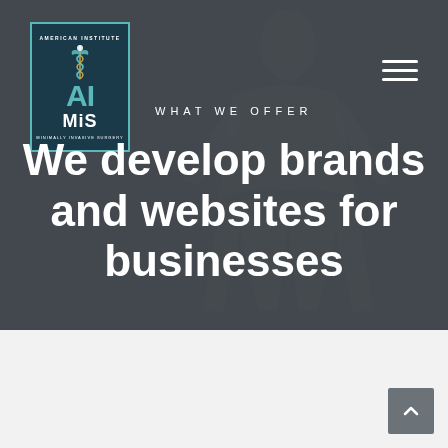[Figure (logo): American Institute of Minimally Invasive Surgery (AIMIS) logo with caduceus symbol, teal and dark blue colors, text: AMERICAN INSTITUTE, AI, MIS, MINIMALLY INVASIVE SURGERY]
WHAT WE OFFER
We develop brands and websites for businesses
[Figure (illustration): Faded silhouette of a human figure in background of hero section]
A